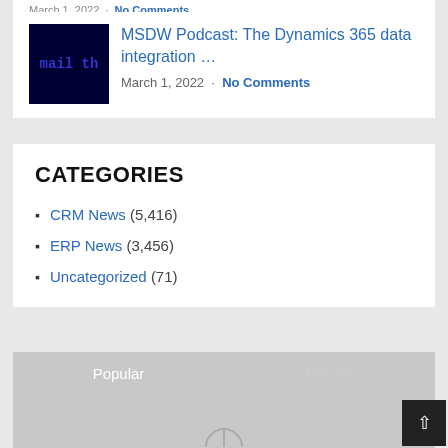March 1, 2022 · No Comments
[Figure (screenshot): Dark blue thumbnail image with text 'mail th' visible]
MSDW Podcast: The Dynamics 365 data integration …
March 1, 2022 · No Comments
CATEGORIES
CRM News (5,416)
ERP News (3,456)
Uncategorized (71)
Popular   Recent